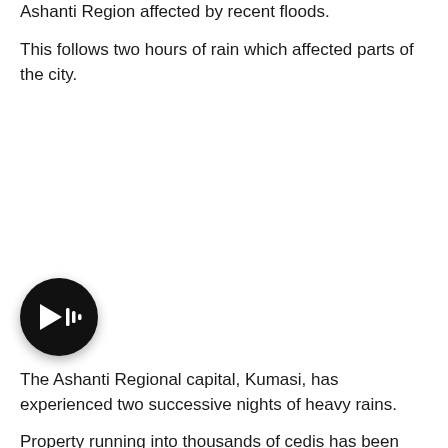Ashanti Region affected by recent floods.
This follows two hours of rain which affected parts of the city.
[Figure (other): Audio play button — black circular button with a stylized play/audio waveform icon in white]
The Ashanti Regional capital, Kumasi, has experienced two successive nights of heavy rains.
Property running into thousands of cedis has been destroyed